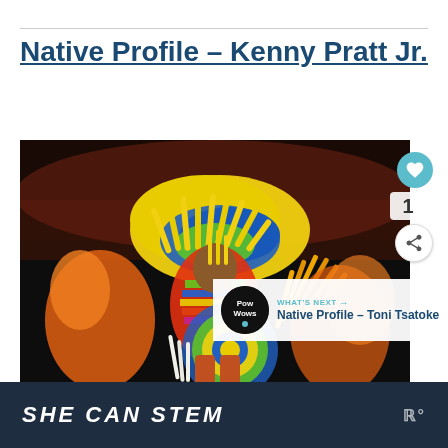Native Profile – Kenny Pratt Jr.
[Figure (photo): A Native American dancer in elaborate colorful regalia featuring bright yellow, blue, green, and orange feathers and fabric, performing at a powwow event with audience visible in the background.]
WHAT'S NEXT → Native Profile – Toni Tsatoke
SHE CAN STEM